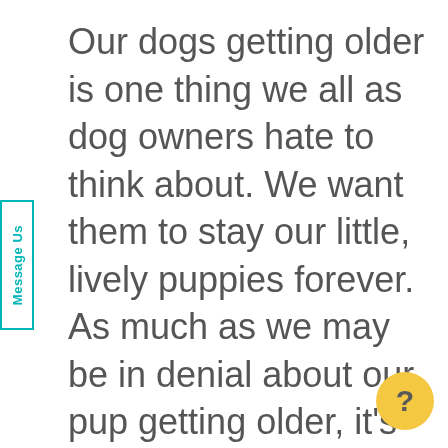Our dogs getting older is one thing we all as dog owners hate to think about. We want them to stay our little, lively puppies forever. As much as we may be in denial about our pup getting older, it's important to make sure that we keep an eye on our older dog's health and wellbeing to ensure they have the best quality of life possible. In this article, we expl 4 things to watch for in older dogs